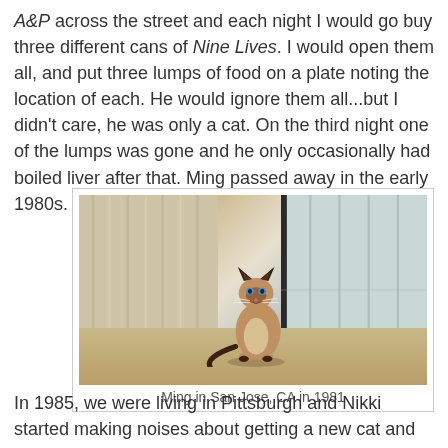A&P across the street and each night I would go buy three different cans of Nine Lives. I would open them all, and put three lumps of food on a plate noting the location of each. He would ignore them all...but I didn't care, he was only a cat. On the third night one of the lumps was gone and he only occasionally had boiled liver after that. Ming passed away in the early 1980s.
[Figure (photo): A Siamese cat sitting on the floor near a sliding glass door with curtains, in San Jose, CA in 1981.]
Ming in San Jose, CA in 1981
In 1985, we were living in Pittsburgh and Nikki started making noises about getting a new cat and perhaps a dog. I was not opposed but we didn't get around to it due to other